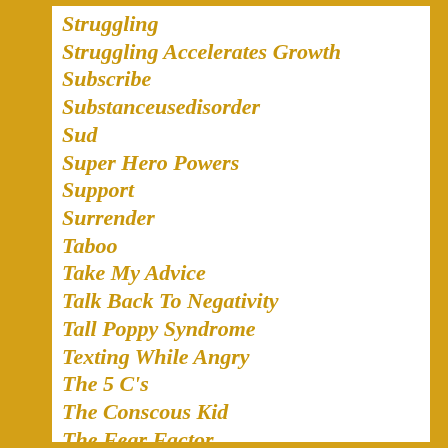Struggling
Struggling Accelerates Growth
Subscribe
Substanceusedisorder
Sud
Super Hero Powers
Support
Surrender
Taboo
Take My Advice
Talk Back To Negativity
Tall Poppy Syndrome
Texting While Angry
The 5 C's
The Conscous Kid
The Fear Factor
The Four Agreements
The Happy Truck